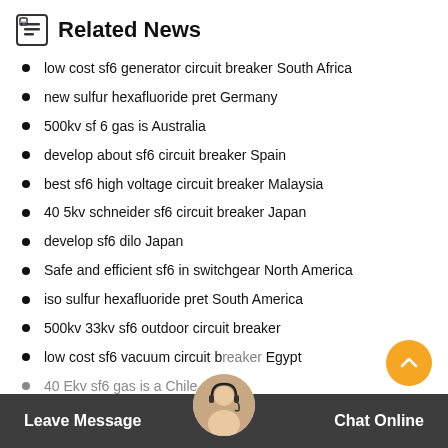Related News
low cost sf6 generator circuit breaker South Africa
new sulfur hexafluoride pret Germany
500kv sf 6 gas is Australia
develop about sf6 circuit breaker Spain
best sf6 high voltage circuit breaker Malaysia
40 5kv schneider sf6 circuit breaker Japan
develop sf6 dilo Japan
Safe and efficient sf6 in switchgear North America
iso sulfur hexafluoride pret South America
500kv 33kv sf6 outdoor circuit breaker
low cost sf6 vacuum circuit breaker Egypt
40 Ekv sf6 gas is a Chile
Leave Message  Chat Online